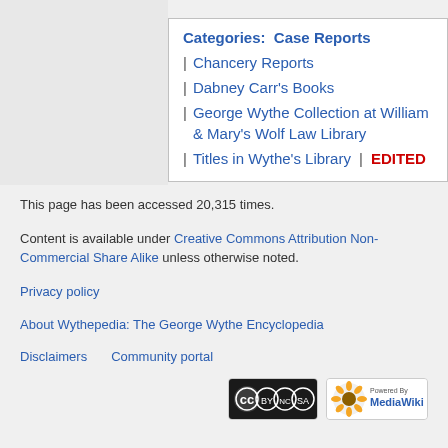Categories:  Case Reports
Chancery Reports
Dabney Carr's Books
George Wythe Collection at William & Mary's Wolf Law Library
Titles in Wythe's Library | EDITED
This page has been accessed 20,315 times.
Content is available under Creative Commons Attribution Non-Commercial Share Alike unless otherwise noted.
Privacy policy
About Wythepedia: The George Wythe Encyclopedia
Disclaimers    Community portal
[Figure (logo): Creative Commons Attribution Non-Commercial Share Alike badge]
[Figure (logo): Powered by MediaWiki badge]